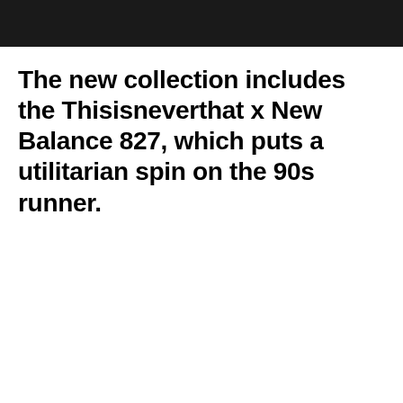[Figure (photo): Dark/black and white photo strip at the top of the page, showing a partial silhouette or figure]
The new collection includes the Thisisneverthat x New Balance 827, which puts a utilitarian spin on the 90s runner.